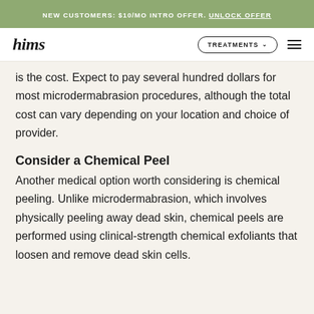NEW CUSTOMERS: $10/MO INTRO OFFER. UNLOCK OFFER
hims TREATMENTS
is the cost. Expect to pay several hundred dollars for most microdermabrasion procedures, although the total cost can vary depending on your location and choice of provider.
Consider a Chemical Peel
Another medical option worth considering is chemical peeling. Unlike microdermabrasion, which involves physically peeling away dead skin, chemical peels are performed using clinical-strength chemical exfoliants that loosen and remove dead skin cells.